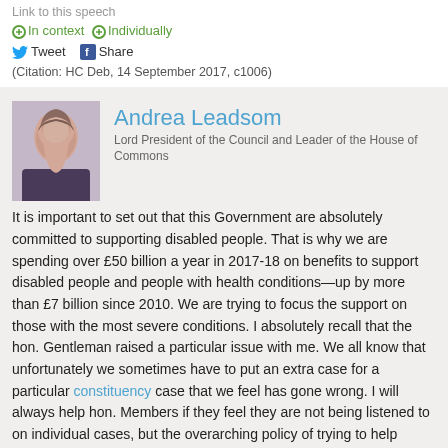Link to this speech
In context  Individually
Tweet  Share
(Citation: HC Deb, 14 September 2017, c1006)
[Figure (photo): Portrait photo of Andrea Leadsom]
Andrea Leadsom
Lord President of the Council and Leader of the House of Commons
It is important to set out that this Government are absolutely committed to supporting disabled people. That is why we are spending over £50 billion a year in 2017-18 on benefits to support disabled people and people with health conditions—up by more than £7 billion since 2010. We are trying to focus the support on those with the most severe conditions. I absolutely recall that the hon. Gentleman raised a particular issue with me. We all know that unfortunately we sometimes have to put an extra case for a particular constituency case that we feel has gone wrong. I will always help hon. Members if they feel they are not being listened to on individual cases, but the overarching policy of trying to help people with disabilities more is the right one.
Link to this speech